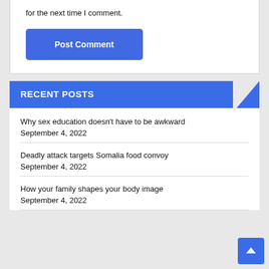for the next time I comment.
Post Comment
RECENT POSTS
Why sex education doesn't have to be awkward
September 4, 2022
Deadly attack targets Somalia food convoy
September 4, 2022
How your family shapes your body image
September 4, 2022